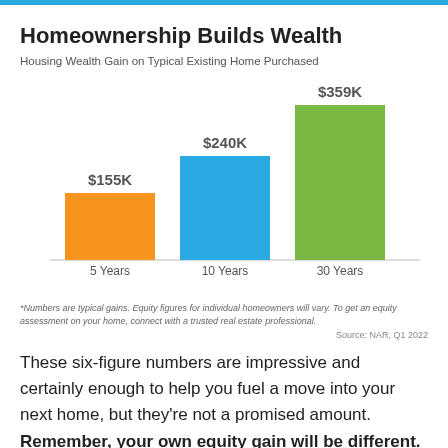Homeownership Builds Wealth
Housing Wealth Gain on Typical Existing Home Purchased
[Figure (bar-chart): Homeownership Builds Wealth]
*Numbers are typical gains. Equity figures for individual homeowners will vary. To get an equity assessment on your home, connect with a trusted real estate professional.
Source: NAR, Q1 2022
These six-figure numbers are impressive and certainly enough to help you fuel a move into your next home, but they’re not a promised amount. Remember, your own equity gain will be different. It depends on how long you’ve been in the house,